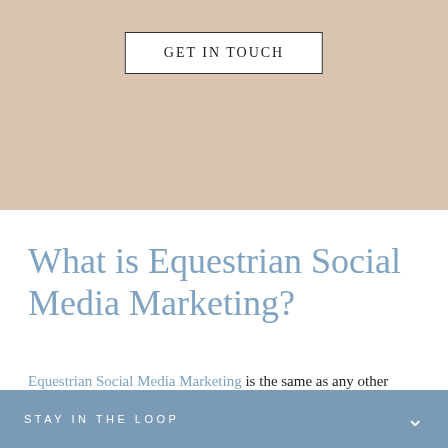GET IN TOUCH
What is Equestrian Social Media Marketing?
Equestrian Social Media Marketing is the same as any other social media marketing, it is just tailored specifically to all things equine! Having an online presence is arguably one of the most important aspects for a business looking to expand and grow. Social Media is something almost everyone in the country
STAY IN THE LOOP